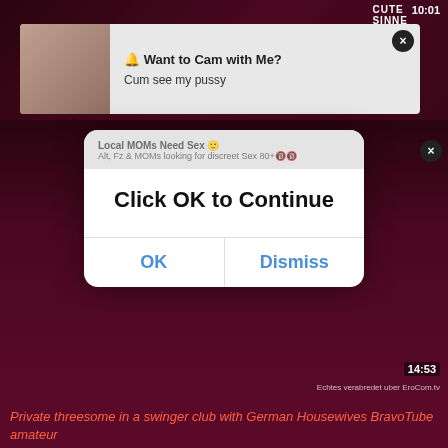[Figure (screenshot): Top ad banner with popup showing woman thumbnail and text 'Want to Cam with Me? Cum see my pussy' with close button, over dark video background with timestamp 10:01]
[Figure (screenshot): Middle video thumbnail section (dark background) with browser dialog overlay showing 'Click OK to Continue' with OK and Dismiss buttons, and ad text 'Local MOMs Need Sex', timestamp 14:53, watermark 'verabredet uber EroCom.tv']
Private threesome in a swinger club with German Housewives BravoTube amateur
11665